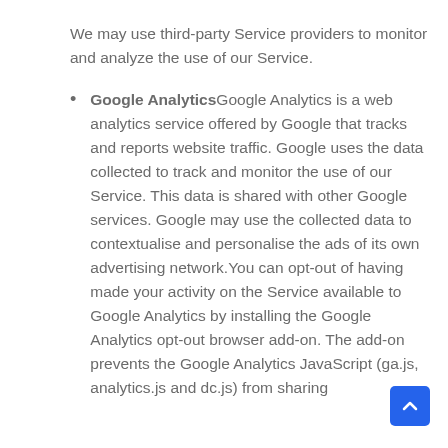We may use third-party Service providers to monitor and analyze the use of our Service.
Google Analytics Google Analytics is a web analytics service offered by Google that tracks and reports website traffic. Google uses the data collected to track and monitor the use of our Service. This data is shared with other Google services. Google may use the collected data to contextualise and personalise the ads of its own advertising network.You can opt-out of having made your activity on the Service available to Google Analytics by installing the Google Analytics opt-out browser add-on. The add-on prevents the Google Analytics JavaScript (ga.js, analytics.js and dc.js) from sharing